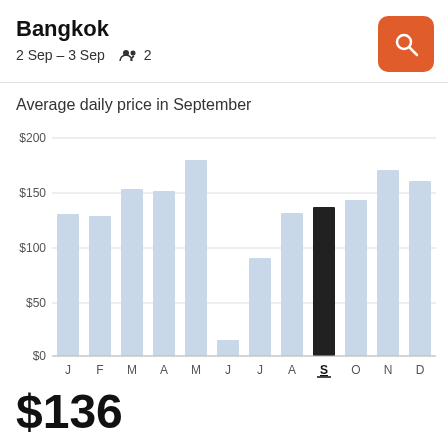Bangkok
2 Sep – 3 Sep   👥 2
Average daily price in September
[Figure (bar-chart): Average daily price in September]
$136